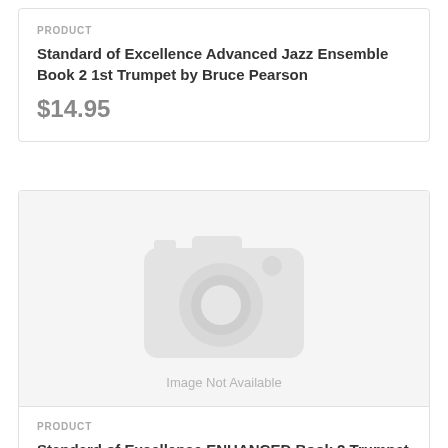PRODUCT
Standard of Excellence Advanced Jazz Ensemble Book 2 1st Trumpet by Bruce Pearson
$14.95
[Figure (photo): Image Not Available placeholder with camera icon]
PRODUCT
Standard of Excellence ENHANCED Book 2 Trumpet - Book/Audio